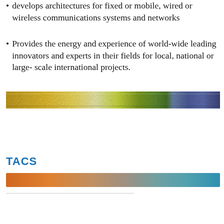develops architectures for fixed or mobile, wired or wireless communications systems and networks
Provides the energy and experience of world-wide leading innovators and experts in their fields for local, national or large-scale international projects.
[Figure (illustration): A horizontal decorative banner image showing a colorful landscape strip with yellow, green, and blue/purple hues, resembling fields and sky.]
TACS
[Figure (illustration): A horizontal gradient bar transitioning from orange on the left to teal/blue-green on the right.]